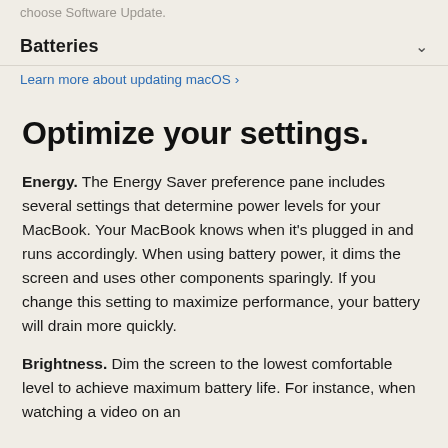choose Software Update.
Batteries
Learn more about updating macOS >
Optimize your settings.
Energy. The Energy Saver preference pane includes several settings that determine power levels for your MacBook. Your MacBook knows when it's plugged in and runs accordingly. When using battery power, it dims the screen and uses other components sparingly. If you change this setting to maximize performance, your battery will drain more quickly.
Brightness. Dim the screen to the lowest comfortable level to achieve maximum battery life. For instance, when watching a video on an